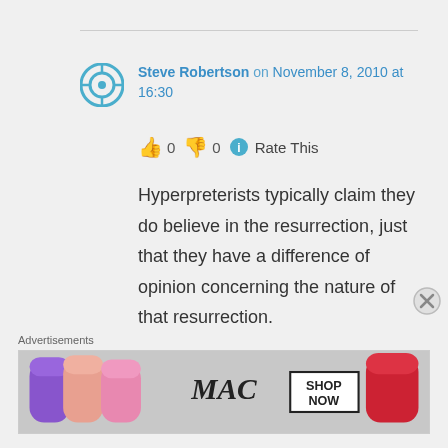Steve Robertson on November 8, 2010 at 16:30
👍 0 👎 0 ℹ Rate This
Hyperpreterists typically claim they do believe in the resurrection, just that they have a difference of opinion concerning the nature of that resurrection.

But if the Apostle Paul taught that there would be a physical
Advertisements
[Figure (photo): MAC cosmetics advertisement showing colorful lipsticks and SHOP NOW text]